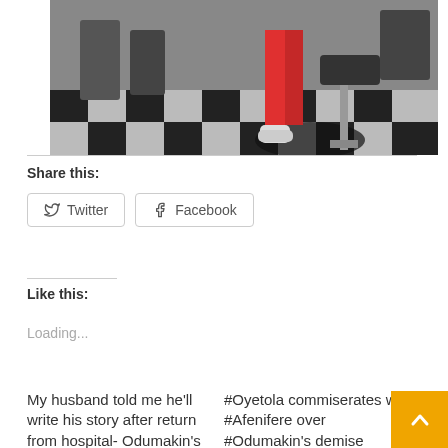[Figure (photo): Black and white photo of a barber shop with checkered floor tiles and barber chairs, a person wearing red pants sitting in one of the chairs]
Share this:
Twitter
Facebook
Like this:
Loading...
My husband told me he'll write his story after return from hospital- Odumakin's
#Oyetola commiserates w #Afenifere over #Odumakin's demise